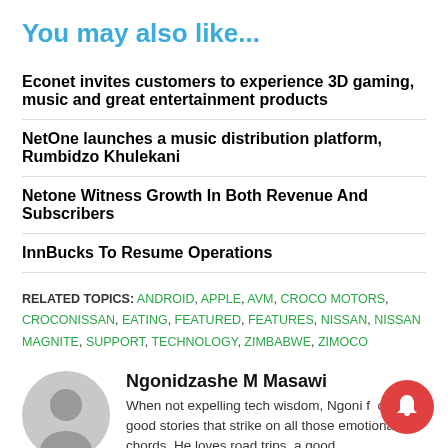You may also like...
Econet invites customers to experience 3D gaming, music and great entertainment products
NetOne launches a music distribution platform, Rumbidzo Khulekani
Netone Witness Growth In Both Revenue And Subscribers
InnBucks To Resume Operations
RELATED TOPICS: ANDROID, APPLE, AVM, CROCO MOTORS, CROCONISSAN, EATING, FEATURED, FEATURES, NISSAN, NISSAN MAGNITE, SUPPORT, TECHNOLOGY, ZIMBABWE, ZIMOCO
Ngonidzashe M Masawi
When not expelling tech wisdom, Ngoni focuses on good stories that strike on all those emotional chords. He loves road trips, a good